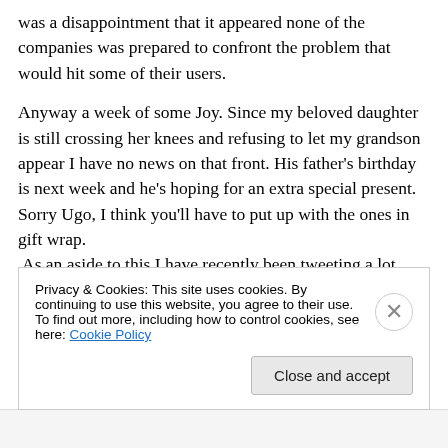was a disappointment that it appeared none of the companies was prepared to confront the problem that would hit some of their users.
Anyway a week of some Joy. Since my beloved daughter is still crossing her knees and refusing to let my grandson appear I have no news on that front. His father's birthday is next week and he's hoping for an extra special present.  Sorry Ugo, I think you'll have to put up with the ones in gift wrap.
As an aside to this I have recently been tweeting a lot
Privacy & Cookies: This site uses cookies. By continuing to use this website, you agree to their use.
To find out more, including how to control cookies, see here: Cookie Policy